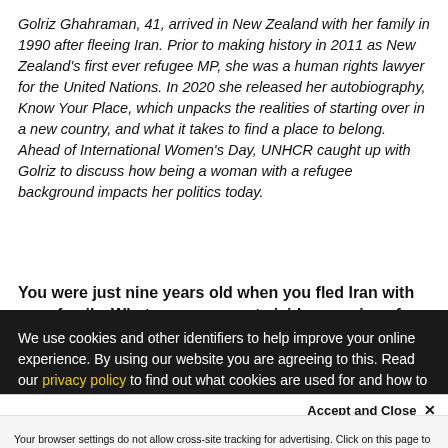Golriz Ghahraman, 41, arrived in New Zealand with her family in 1990 after fleeing Iran. Prior to making history in 2011 as New Zealand's first ever refugee MP, she was a human rights lawyer for the United Nations. In 2020 she released her autobiography, Know Your Place, which unpacks the realities of starting over in a new country, and what it takes to find a place to belong. Ahead of International Women's Day, UNHCR caught up with Golriz to discuss how being a woman with a refugee background impacts her politics today.
You were just nine years old when you fled Iran with your family. What are your most vivid memories of that time
We use cookies and other identifiers to help improve your online experience. By using our website you are agreeing to this. Read our privacy policy to find out what cookies are used for and how to change your settings.
Accept and Close ✕
Your browser settings do not allow cross-site tracking for advertising. Click on this page to allow AdRoll to use cross-site tracking to tailor ads to you. Learn more or opt out of this AdRoll tracking by clicking here. This message only appears once.